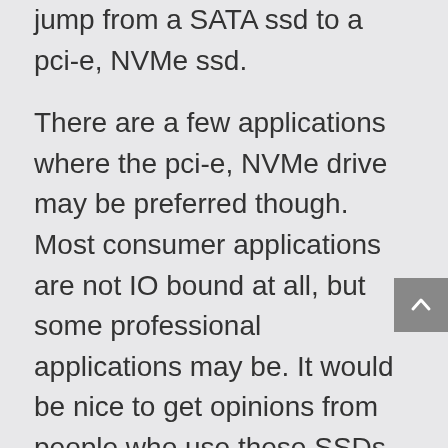jump from a SATA ssd to a pci-e, NVMe ssd.
There are a few applications where the pci-e, NVMe drive may be preferred though. Most consumer applications are not IO bound at all, but some professional applications may be. It would be nice to get opinions from people who use these SSDs in such a manner, but usually the best solution for such applications is to just use a lot of RAM and maybe a RAID array if you need the bandwidth. If you push a machine into using swap space for